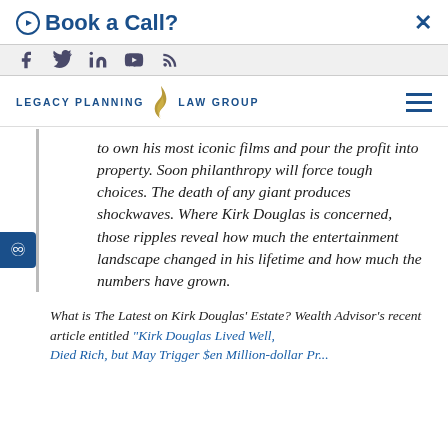Book a Call?
[Figure (logo): Legacy Planning Law Group logo with flame icon]
to own his most iconic films and pour the profit into property. Soon philanthropy will force tough choices. The death of any giant produces shockwaves. Where Kirk Douglas is concerned, those ripples reveal how much the entertainment landscape changed in his lifetime and how much the numbers have grown.
What is The Latest on Kirk Douglas' Estate? Wealth Advisor's recent article entitled "Kirk Douglas Lived Well, Died Rich, but May Trigger $en Million-dollar Pr..."